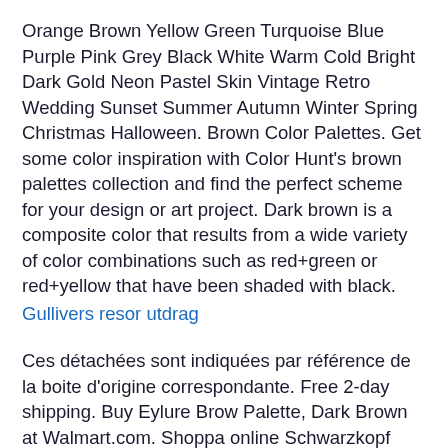Orange Brown Yellow Green Turquoise Blue Purple Pink Grey Black White Warm Cold Bright Dark Gold Neon Pastel Skin Vintage Retro Wedding Sunset Summer Autumn Winter Spring Christmas Halloween. Brown Color Palettes. Get some color inspiration with Color Hunt's brown palettes collection and find the perfect scheme for your design or art project. Dark brown is a composite color that results from a wide variety of color combinations such as red+green or red+yellow that have been shaded with black.
Gullivers resor utdrag
Ces détachées sont indiquées par référence de la boite d'origine correspondante. Free 2-day shipping. Buy Eylure Brow Palette, Dark Brown at Walmart.com. Shoppa online Schwarzkopf Palette